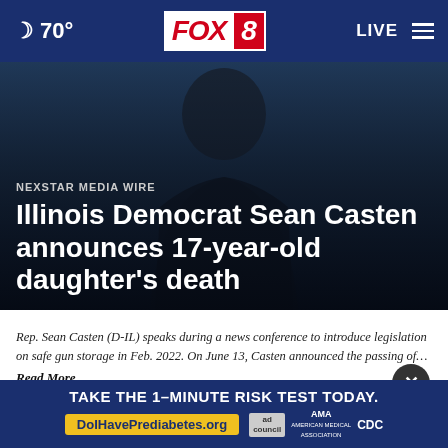🌙 70° | FOX 8 | LIVE
[Figure (photo): Dark silhouette of a person in a suit against a dark blurred background]
NEXSTAR MEDIA WIRE
Illinois Democrat Sean Casten announces 17-year-old daughter's death
Rep. Sean Casten (D-IL) speaks during a news conference to introduce legislation on safe gun storage in Feb. 2022. On June 13, Casten announced the passing of…
Read More
by: Ca...
Posted...
Updat...
TAKE THE 1-MINUTE RISK TEST TODAY.
DoIHavePrediabetes.org